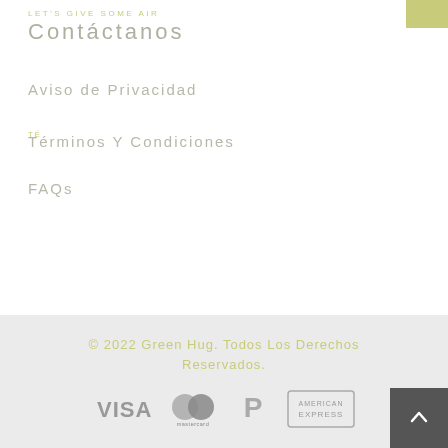LET'S GIVE SOME AIR
Contáctanos
Aviso de Privacidad
Términos Y Condiciones
FAQs
© 2022 Green Hug. Todos Los Derechos Reservados.
[Figure (logo): Payment icons: VISA, Mastercard, PayPal, American Express]